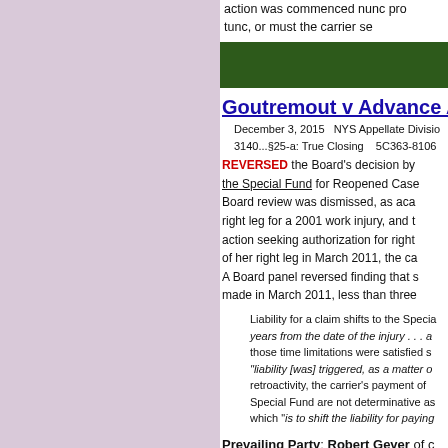action was commenced nunc pro tunc, or must the carrier se
Goutremout v Advance A
December 3, 2015   NYS Appellate Divisio
3140...§25-a: True Closing   5C363-8106
REVERSED the Board's decision by the Special Fund for Reopened Case Board review was dismissed, as aca right leg for a 2001 work injury, and t action seeking authorization for right of her right leg in March 2011, the ca A Board panel reversed finding that s made in March 2011, less than three
Liability for a claim shifts to the Specia years from the date of the injury . . . a those time limitations were satisfied s "liability [was] triggered, as a matter of retroactivity, the carrier's payment of Special Fund are not determinative as which "is to shift the liability for paying
Prevailing Party: Robert Geyer of c
Lozowski v The Wiz
December 3, 2015   NYS Appellate Divisio